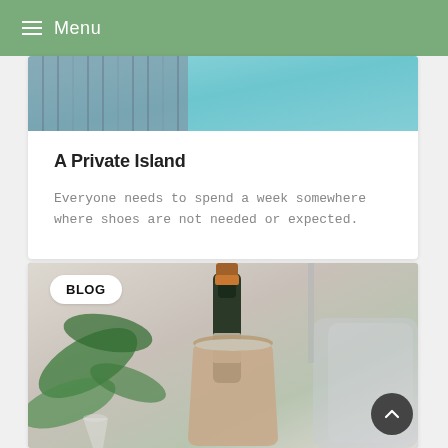≡ Menu
[Figure (photo): Aerial or close-up view of a wooden deck over turquoise water, top portion of a blog card image.]
A Private Island
Everyone needs to spend a week somewhere where shoes are not needed or expected.
[Figure (photo): Photo of a champagne bottle in an ice bucket with green tropical plant leaves in the foreground, blurred background. BLOG badge overlaid at top-left.]